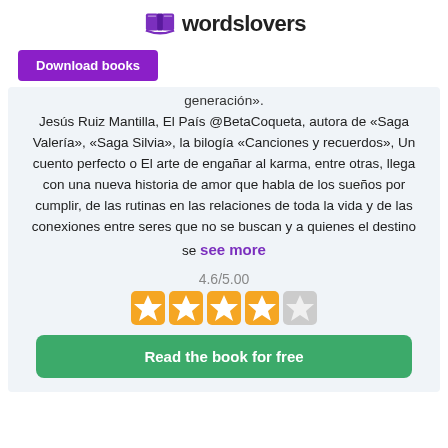wordslovers
Download books
generación».
Jesús Ruiz Mantilla, El País @BetaCoqueta, autora de «Saga Valería», «Saga Silvia», la bilogía «Canciones y recuerdos», Un cuento perfecto o El arte de engañar al karma, entre otras, llega con una nueva historia de amor que habla de los sueños por cumplir, de las rutinas en las relaciones de toda la vida y de las conexiones entre seres que no se buscan y a quienes el destino se see more
4.6/5.00
Read the book for free